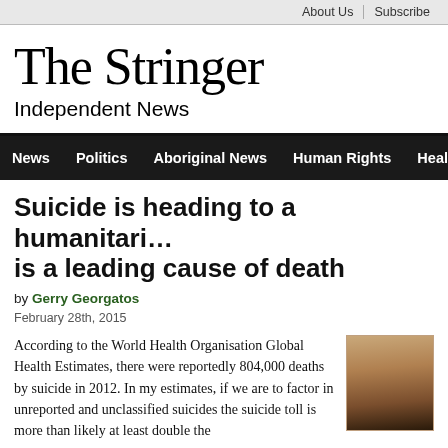About Us | Subscribe
The Stringer
Independent News
News | Politics | Aboriginal News | Human Rights | Health & Well
Suicide is heading to a humanitarian crisis and is a leading cause of death
by Gerry Georgatos
February 28th, 2015
According to the World Health Organisation Global Health Estimates, there were reportedly 804,000 deaths by suicide in 2012. In my estimates, if we are to factor in unreported and unclassified suicides the suicide toll is more than likely at least double the
[Figure (photo): Portrait photo of a person, partially visible on the right side of the article.]